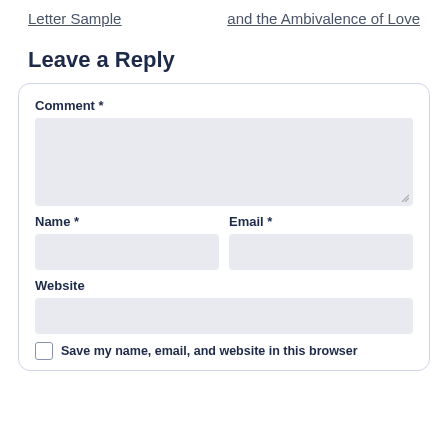Letter Sample
and the Ambivalence of Love
Leave a Reply
Comment *
Name *
Email *
Website
Save my name, email, and website in this browser